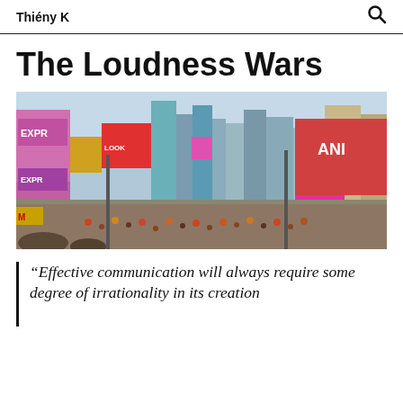Thiény K
The Loudness Wars
[Figure (photo): Aerial view of Times Square, New York City, crowded with people and surrounded by colorful illuminated billboards and skyscrapers.]
“Effective communication will always require some degree of irrationality in its creation